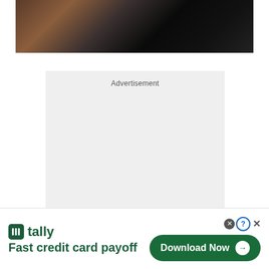[Figure (photo): Partial photo of a dark smartphone on a wooden surface, cropped at top]
Advertisement
[Figure (screenshot): Tally app advertisement banner: logo with green icon, text 'Fast credit card payoff', and a green 'Download Now' button with arrow. Close (X) and help (?) buttons in top right.]